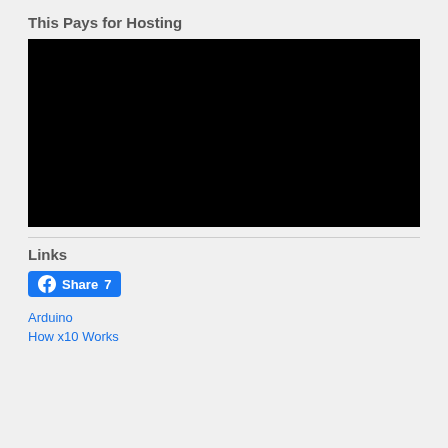This Pays for Hosting
[Figure (other): Black video embed placeholder rectangle]
Links
[Figure (other): Facebook Share button with count 7]
Arduino
How x10 Works